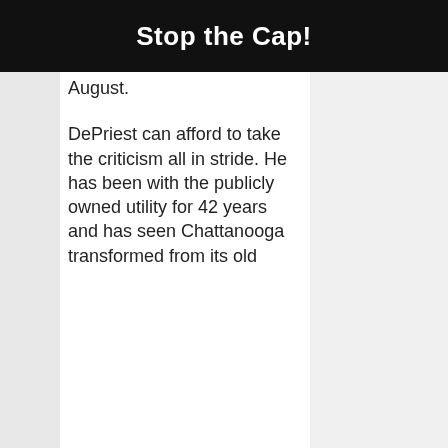Stop the Cap!
August.

DePriest can afford to take the criticism all in stride. He has been with the publicly owned utility for 42 years and has seen Chattanooga transformed from its old